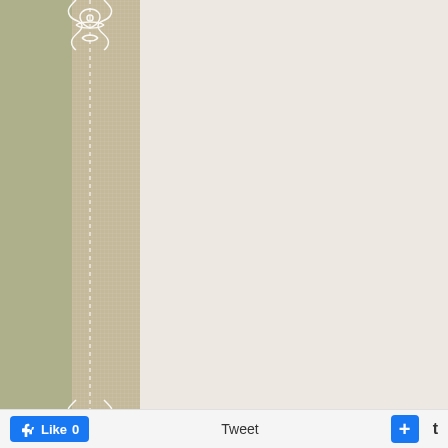[Figure (illustration): Decorative page layout with sage green left panel, burlap/linen textured strip, white lace trim border, and cream/off-white main content area. Social sharing bar at the bottom with Facebook Like button showing 0, Tweet text, a blue plus button, and a Tumblr t icon.]
Like 0  Tweet  +  t